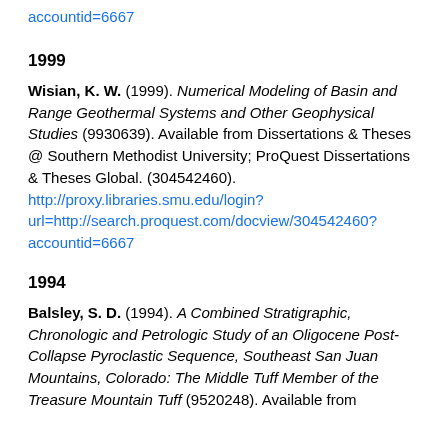accountid=6667
1999
Wisian, K. W. (1999). Numerical Modeling of Basin and Range Geothermal Systems and Other Geophysical Studies (9930639). Available from Dissertations & Theses @ Southern Methodist University; ProQuest Dissertations & Theses Global. (304542460). http://proxy.libraries.smu.edu/login?url=http://search.proquest.com/docview/304542460?accountid=6667
1994
Balsley, S. D. (1994). A Combined Stratigraphic, Chronologic and Petrologic Study of an Oligocene Post-Collapse Pyroclastic Sequence, Southeast San Juan Mountains, Colorado: The Middle Tuff Member of the Treasure Mountain Tuff (9520248). Available from